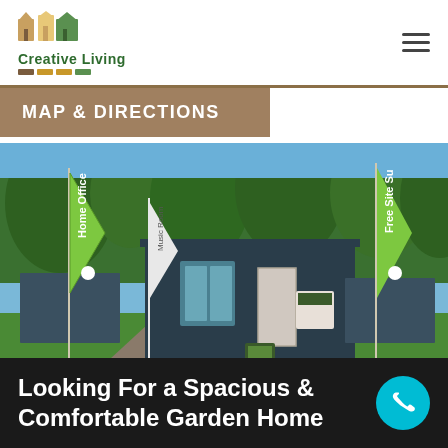Creative Living
MAP & DIRECTIONS
[Figure (photo): Exterior photo of a modern dark-blue garden room/home office showroom with green feather flags reading 'Home Office', 'Music Room', and 'Free Site Su...' on a bright sunny day with trees in background and artificial grass foreground.]
Looking For a Spacious & Comfortable Garden Home